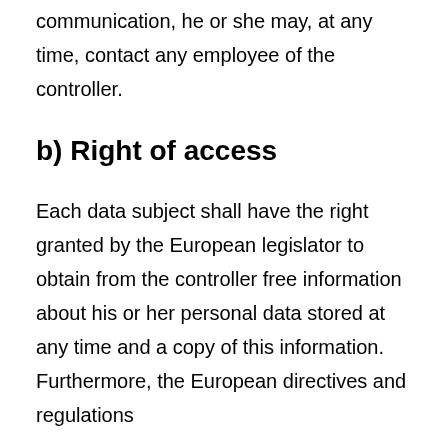communication, he or she may, at any time, contact any employee of the controller.
b) Right of access
Each data subject shall have the right granted by the European legislator to obtain from the controller free information about his or her personal data stored at any time and a copy of this information. Furthermore, the European directives and regulations